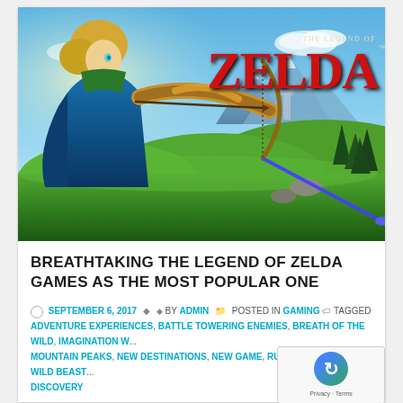[Figure (illustration): The Legend of Zelda: Breath of the Wild promotional artwork showing Link drawing a bow with a scenic green landscape and mountains in the background. The Zelda logo appears in the upper right corner in red text.]
BREATHTAKING THE LEGEND OF ZELDA GAMES AS THE MOST POPULAR ONE
SEPTEMBER 6, 2017  BY ADMIN  POSTED IN GAMING  TAGGED ADVENTURE EXPERIENCES, BATTLE TOWERING ENEMIES, BREATH OF THE WILD, IMAGINATION WITH MOUNTAIN PEAKS, NEW DESTINATIONS, NEW GAME, RUINED KINGDOM, WILD BEASTS DISCOVERY